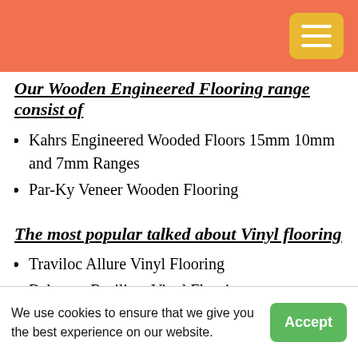[Figure (other): Orange header bar with a yellow hamburger menu button in the top right corner]
Our Wooden Engineered Flooring range consist of
Kahrs Engineered Wooded Floors 15mm 10mm and 7mm Ranges
Par-Ky Veneer Wooden Flooring
The most popular talked about Vinyl flooring
Traviloc Allure Vinyl Flooring
Belgotex Resilient Vinyl Flooring
Decoria Luxury Vinyl Flooring
We use cookies to ensure that we give you the best experience on our website.